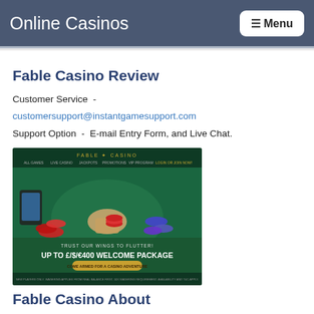Online Casinos  Menu
Fable Casino Review
Customer Service  -  customersupport@instantgamesupport.com
Support Option  -  E-mail Entry Form, and Live Chat.
[Figure (screenshot): Screenshot of Fable Casino website showing casino chips and hands on a green table, with text 'TRUST OUR WINGS TO FLUTTER! UP TO £/$/€400 WELCOME PACKAGE' and a gold button 'COME ARMED FOR A CASINO ADVENTURE']
Fable Casino About